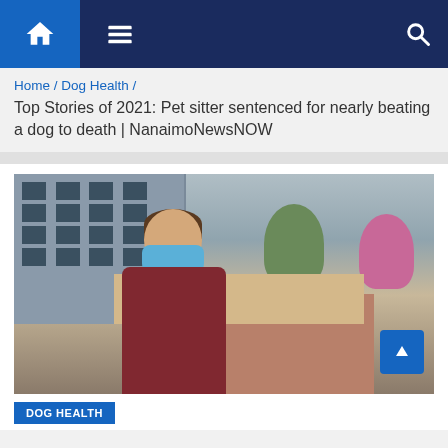[Figure (screenshot): Navigation bar with home icon (blue background), hamburger menu icon, and search icon on dark navy background]
Home / Dog Health /
Top Stories of 2021: Pet sitter sentenced for nearly beating a dog to death | NanaimoNewsNOW
[Figure (photo): A man wearing a blue face mask, dark red hoodie vest over grey hoodie, standing outside in front of a building and trees]
DOG HEALTH